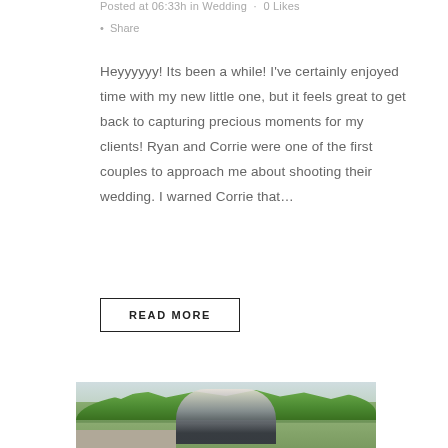Posted at 06:33h in Wedding · 0 Likes · Share
Heyyyyyy! Its been a while! I've certainly enjoyed time with my new little one, but it feels great to get back to capturing precious moments for my clients! Ryan and Corrie were one of the first couples to approach me about shooting their wedding. I warned Corrie that...
READ MORE
[Figure (photo): Outdoor wedding photo showing a couple, a woman and a tall man in a suit with a boutonniere, standing together in a garden setting with trees and greenery in the background.]